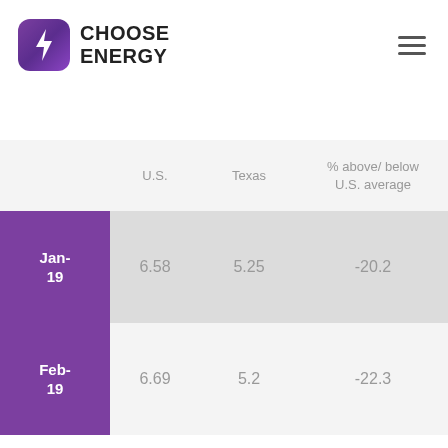[Figure (logo): Choose Energy logo with purple lightning bolt icon and bold text]
|  | U.S. | Texas | % above/ below U.S. average |
| --- | --- | --- | --- |
| Jan-19 | 6.58 | 5.25 | -20.2 |
| Feb-19 | 6.69 | 5.2 | -22.3 |